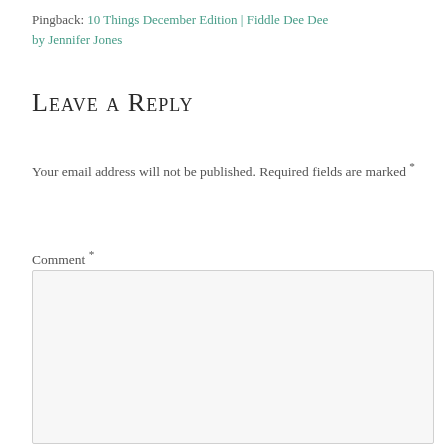Pingback: 10 Things December Edition | Fiddle Dee Dee by Jennifer Jones
Leave a Reply
Your email address will not be published. Required fields are marked *
Comment *
[Figure (other): Empty comment text area input box with light gray background and border]